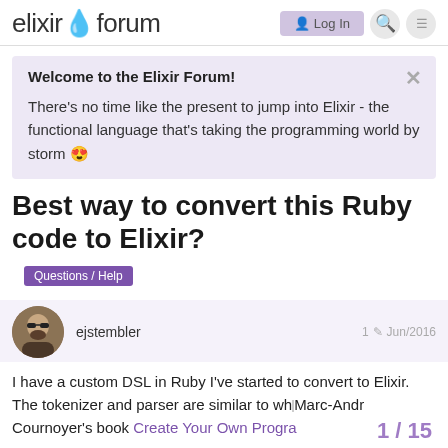elixir forum  Log In
Welcome to the Elixir Forum!
There's no time like the present to jump into Elixir - the functional language that's taking the programming world by storm 😍
Best way to convert this Ruby code to Elixir?
Questions / Help
ejstembler  1  Jun/2016
I have a custom DSL in Ruby I've started to convert to Elixir. The tokenizer and parser are similar to what's in Marc-André Cournoyer's book Create Your Own Progra… it uses Regex pattern matching. In my toke…
1 / 15